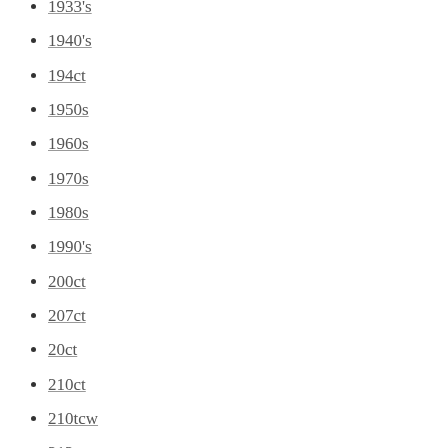1933's
1940's
194ct
1950s
1960s
1970s
1980s
1990's
200ct
207ct
20ct
210ct
210tcw
212ct
217ct
219ct
21ct
220ct